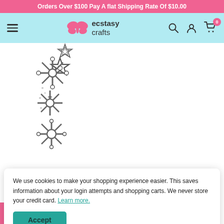Orders Over $100 Pay A flat Shipping Rate Of $10.00
[Figure (logo): Ecstasy Crafts logo with pink butterfly and text 'ecstasy crafts']
[Figure (photo): Metal die cut snowflake/star chain craft die product image]
We use cookies to make your shopping experience easier. This saves information about your login attempts and shopping carts. We never store your credit card. Learn more.
Accept
Ecstasy Crafts Rewards